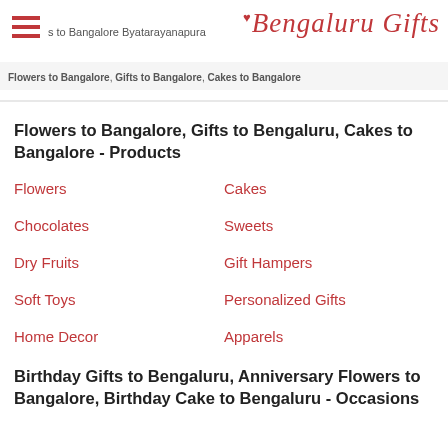Bengaluru Gifts
s to Bangalore Byatarayanapura
Flowers to Bangalore, Gifts to Bangalore, Cakes to Bangalore
Flowers to Bangalore, Gifts to Bengaluru, Cakes to Bangalore - Products
Flowers
Cakes
Chocolates
Sweets
Dry Fruits
Gift Hampers
Soft Toys
Personalized Gifts
Home Decor
Apparels
Birthday Gifts to Bengaluru, Anniversary Flowers to Bangalore, Birthday Cake to Bengaluru - Occasions